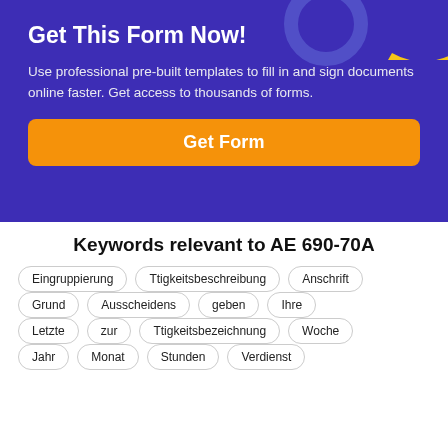Get This Form Now!
Use professional pre-built templates to fill in and sign documents online faster. Get access to thousands of forms.
Get Form
Keywords relevant to AE 690-70A
Eingruppierung
Ttigkeitsbeschreibung
Anschrift
Grund
Ausscheidens
geben
Ihre
Letzte
zur
Ttigkeitsbezeichnung
Woche
Jahr
Monat
Stunden
Verdienst